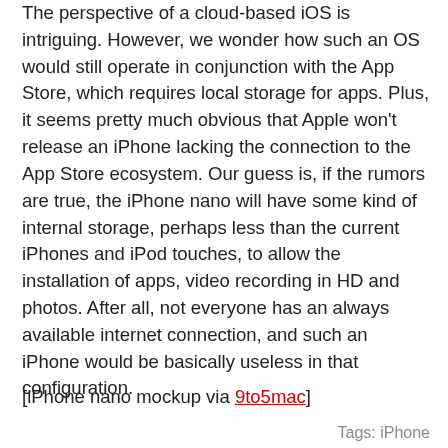The perspective of a cloud-based iOS is intriguing. However, we wonder how such an OS would still operate in conjunction with the App Store, which requires local storage for apps. Plus, it seems pretty much obvious that Apple won't release an iPhone lacking the connection to the App Store ecosystem. Our guess is, if the rumors are true, the iPhone nano will have some kind of internal storage, perhaps less than the current iPhones and iPod touches, to allow the installation of apps, video recording in HD and photos. After all, not everyone has an always available internet connection, and such an iPhone would be basically useless in that configuration.
[iPhone nano mockup via 9to5mac]
Tags: iPhone